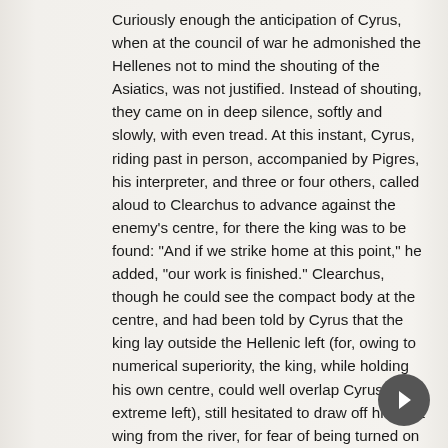Curiously enough the anticipation of Cyrus, when at the council of war he admonished the Hellenes not to mind the shouting of the Asiatics, was not justified. Instead of shouting, they came on in deep silence, softly and slowly, with even tread. At this instant, Cyrus, riding past in person, accompanied by Pigres, his interpreter, and three or four others, called aloud to Clearchus to advance against the enemy's centre, for there the king was to be found: "And if we strike home at this point," he added, "our work is finished." Clearchus, though he could see the compact body at the centre, and had been told by Cyrus that the king lay outside the Hellenic left (for, owing to numerical superiority, the king, while holding his own centre, could well overlap Cyrus's extreme left), still hesitated to draw off his right wing from the river, for fear of being turned on both flanks; and he simply replied, assuring Cyrus that he would take care all went well.
At this time the barbarian army was evenly advancing, and the Hellenic division was still riveted to the spot, completing its formation as the various contingents came up. Cyrus, riding past at some distance from the lines, glanced his eye first in one direction and then in the other, so as to take a complete survey of friends and foes; when Xenophon the